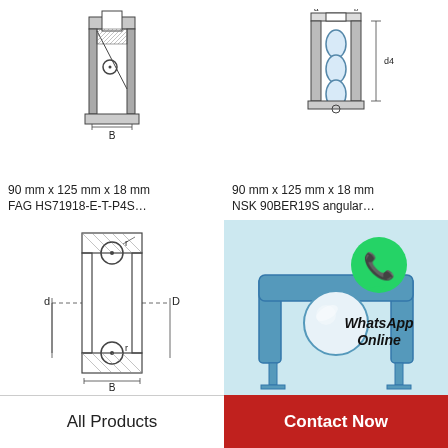[Figure (engineering-diagram): Technical cross-section drawing of FAG angular contact ball bearing HS71918-E-T-P4S, showing bearing profile with dimensions labeled d, D, B]
90 mm x 125 mm x 18 mm
FAG HS71918-E-T-P4S…
[Figure (engineering-diagram): Technical cross-section drawing of NSK 90BER19S angular contact ball bearing, showing bearing with rollers and dimension labels]
90 mm x 125 mm x 18 mm
NSK 90BER19S angular…
[Figure (engineering-diagram): Technical cross-section drawing of a deep groove ball bearing, front view showing inner ring (d), outer ring (D), width (B), and ball radius (r)]
[Figure (illustration): WhatsApp Online contact graphic: blue bearing illustration with green WhatsApp logo bubble and text 'WhatsApp Online']
All Products
Contact Now